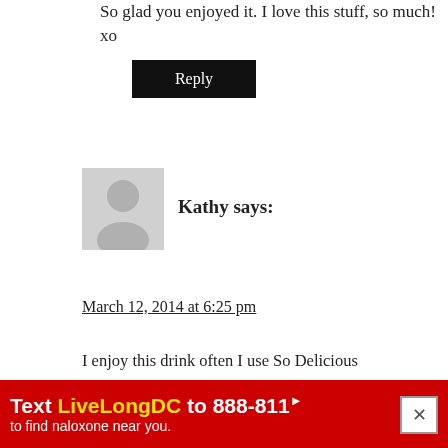So glad you enjoyed it. I love this stuff, so much! xo
Reply
[Figure (illustration): Gray default user avatar silhouette]
Kathy says:
March 12, 2014 at 6:25 pm
I enjoy this drink often I use So Delicious unsweetened Coconut milk and Celestial Seasonings Chai Tea bags or their Honey Vanilla which is a White Tea with Cinnamon Cardamom Ginger Cloves and Black Pepper, when I am time crunched to...Yet I really enjoyed reading your recipe for your Chai Tea Concentrate when I can not find the Celestial Seasonings varieties but I will still use White Tea as my base to cut back on some of the caffeine even though Black Orange Pekoe would be tastier. I just am unable to hand... post!
[Figure (infographic): Red advertisement banner: Text LiveLongDC to 888-811 to find naloxone near you.]